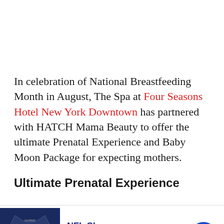In celebration of National Breastfeeding Month in August, The Spa at Four Seasons Hotel New York Downtown has partnered with HATCH Mama Beauty to offer the ultimate Prenatal Experience and Baby Moon Package for expecting mothers.
Ultimate Prenatal Experience
[Figure (other): Infolinks advertisement bar with NFL Shop ad showing a Dallas Cowboys jersey, NFL Shop branding, 'Free shipping on orders over $25', www.nflshop.com, and a blue circular CTA button with right arrow]